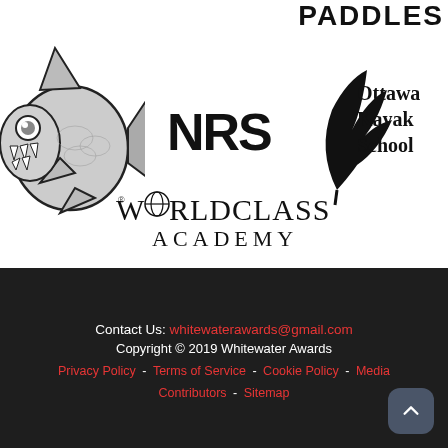[Figure (logo): Partial text 'PADDLES' cut off at top right]
[Figure (logo): Piranha fish mascot logo (black and white cartoon)]
[Figure (logo): NRS logo in bold black letters]
[Figure (logo): Ottawa Kayak School logo with leaf/plant icon]
[Figure (logo): WorldClass Academy logo with globe replacing O]
Contact Us: whitewaterawards@gmail.com
Copyright © 2019 Whitewater Awards
Privacy Policy - Terms of Service - Cookie Policy - Media Contributors - Sitemap